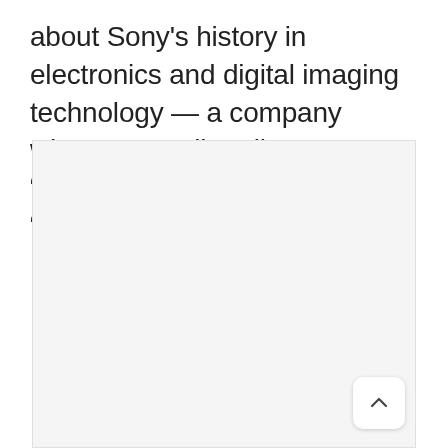about Sony's history in electronics and digital imaging technology — a company whose name literally means “sonus” (sound) and “electricity.”
[Figure (other): A large light gray placeholder image area occupying the lower portion of the page, with a scroll-to-top button in the bottom right corner.]